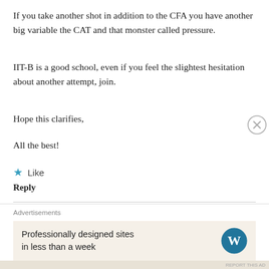If you take another shot in addition to the CFA you have another big variable the CAT and that monster called pressure.
IIT-B is a good school, even if you feel the slightest hesitation about another attempt, join.
Hope this clarifies,
All the best!
★ Like
Reply
Aanchal Saxena
May 16, 2020
Hello Sir,
[Figure (other): Advertisements banner: Professionally designed sites in less than a week, WordPress logo]